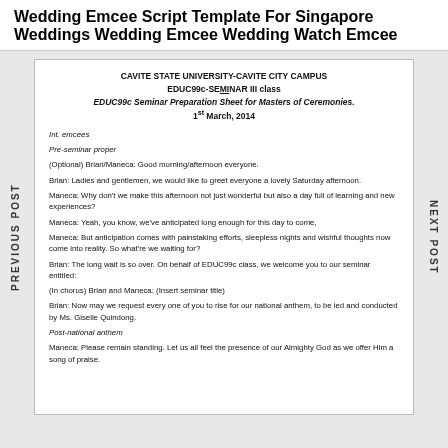Wedding Emcee Script Template For Singapore Weddings Wedding Emcee Wedding Watch Emcee
CAVITE STATE UNIVERSITY-CAVITE CITY CAMPUS
EDUC99c-SEMINAR III class
EDUC99c Seminar Preparation Sheet for Masters of Ceremonies.
1st March, 2014
Int. emcees
Pre-seminar proper
(Optional) Brian/Maneca: Good morning/afternoon everyone.
Brian: Ladies and gentlemen, we would like to greet everyone a lovely Saturday afternoon.
Maneca: Why don't we make this afternoon not just wonderful but also a day full of learning and new experiences?
Maneca: Yeah, you know, we've anticipated long enough for this day to come,
Maneca: But anticipation comes with painstaking efforts, sleepless nights and wishful thoughts now come into reality. So what're we waiting for?
Brian: The long wait is so over. On behalf of EDUC99c class, we welcome you to our seminar entitled:
(In chorus) Brian and Maneca: (Insert seminar title)
Brian: Now may we request every one of you to rise for our national anthem, to be led and conducted by Ms. Giselle Quindong.
Post-national anthem
Maneca: Please remain standing. Let us all feel the presence of our Almighty God as we offer Him a song of praise.